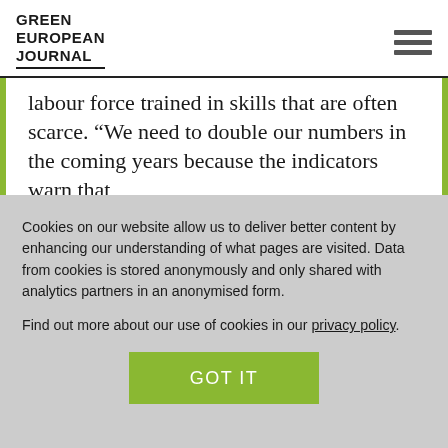GREEN EUROPEAN JOURNAL
labour force trained in skills that are often scarce. “We need to double our numbers in the coming years because the indicators warn that
Cookies on our website allow us to deliver better content by enhancing our understanding of what pages are visited. Data from cookies is stored anonymously and only shared with analytics partners in an anonymised form.
Find out more about our use of cookies in our privacy policy.